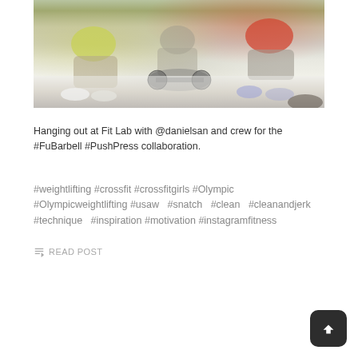[Figure (photo): People crouching around equipment on a white floor, viewed from above. One person wears a yellow shirt, another wears red.]
Hanging out at Fit Lab with @danielsan and crew for the #FuBarbell #PushPress collaboration.
#weightlifting #crossfit #crossfitgirls #Olympic #Olympicweightlifting #usaw #snatch #clean #cleanandjerk #technique #inspiration #motivation #instagramfitness
READ POST